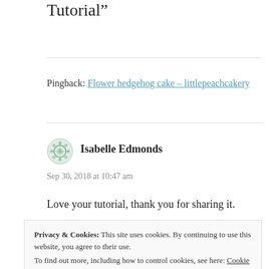Tutorial”
Pingback: Flower hedgehog cake – littlepeachcakery
Isabelle Edmonds
Sep 30, 2018 at 10:47 am
Love your tutorial, thank you for sharing it.
Privacy & Cookies: This site uses cookies. By continuing to use this website, you agree to their use.
To find out more, including how to control cookies, see here: Cookie Policy